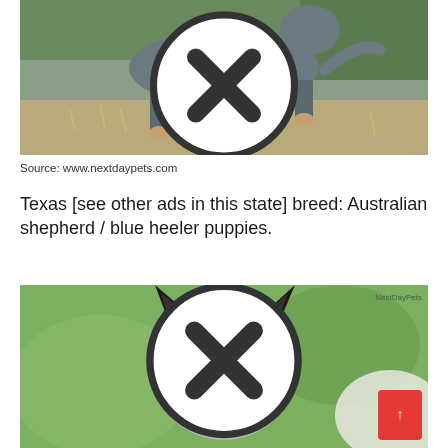[Figure (photo): A blue heeler / Australian cattle dog walking on dry grass, viewed from the side. A close/delete button (circled X) is overlaid near the top center of the image.]
Source: www.nextdaypets.com
Texas [see other ads in this state] breed: Australian shepherd / blue heeler puppies.
[Figure (photo): A blue heeler / Australian cattle dog puppy facing the camera directly, with green bokeh background. NextDayPets watermark in top right. A close/delete button (circled X) is overlaid at the bottom center. A red scroll-up button is in the lower right corner.]